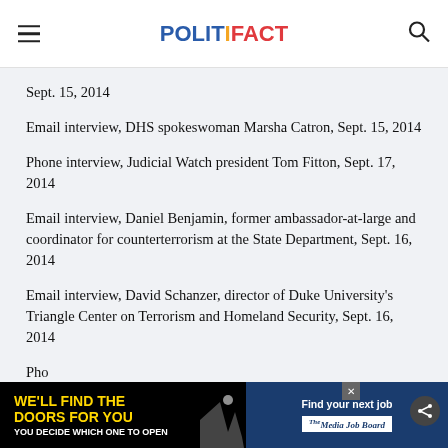POLITIFACT
Sept. 15, 2014
Email interview, DHS spokeswoman Marsha Catron, Sept. 15, 2014
Phone interview, Judicial Watch president Tom Fitton, Sept. 17, 2014
Email interview, Daniel Benjamin, former ambassador-at-large and coordinator for counterterrorism at the State Department, Sept. 16, 2014
Email interview, David Schanzer, director of Duke University's Triangle Center on Terrorism and Homeland Security, Sept. 16, 2014
Pho... ity
[Figure (infographic): Advertisement banner at bottom: 'We'll find the doors for you. You decide which one to open.' with Media Job Board ad on the right side.]